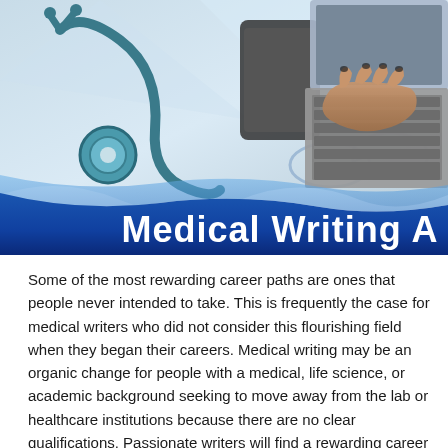[Figure (photo): Photo of a stethoscope, glasses, a phone, and a laptop with a person's hand typing on the keyboard, all on a light blue/white surface.]
Medical Writing A
Some of the most rewarding career paths are ones that people never intended to take. This is frequently the case for medical writers who did not consider this flourishing field when they began their careers. Medical writing may be an organic change for people with a medical, life science, or academic background seeking to move away from the lab or healthcare institutions because there are no clear qualifications. Passionate writers will find a rewarding career in this inspiring and unique field. Medical writing is in high demand in the organizations, healthcare and pharmaceutical